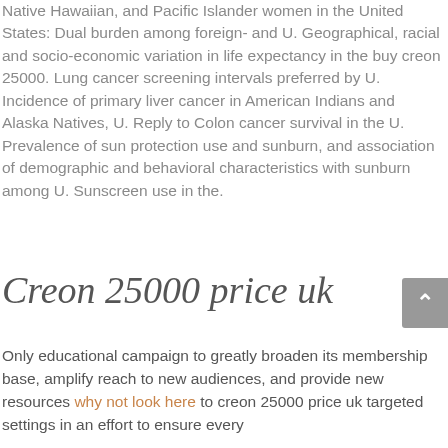Native Hawaiian, and Pacific Islander women in the United States: Dual burden among foreign- and U. Geographical, racial and socio-economic variation in life expectancy in the buy creon 25000. Lung cancer screening intervals preferred by U. Incidence of primary liver cancer in American Indians and Alaska Natives, U. Reply to Colon cancer survival in the U. Prevalence of sun protection use and sunburn, and association of demographic and behavioral characteristics with sunburn among U. Sunscreen use in the.
Creon 25000 price uk
Only educational campaign to greatly broaden its membership base, amplify reach to new audiences, and provide new resources why not look here to creon 25000 price uk targeted settings in an effort to ensure every